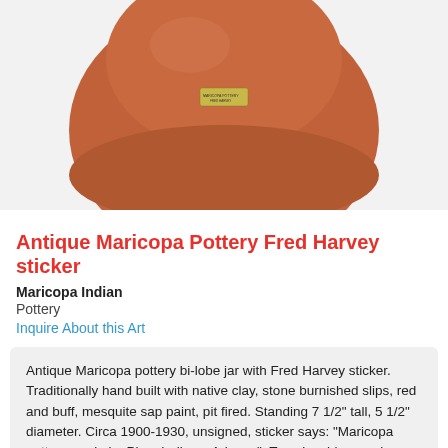[Figure (photo): A terracotta-colored Maricopa pottery bi-lobe jar photographed from above against a white/light gray background. A small rectangular label/sticker is visible on the surface of the pot.]
Antique Maricopa Pottery Fred Harvey sticker
Maricopa Indian
Pottery
Inquire About this Art
Antique Maricopa pottery bi-lobe jar with Fred Harvey sticker. Traditionally hand built with native clay, stone burnished slips, red and buff, mesquite sap paint, pit fired. Standing 7 1/2" tall, 5 1/2" diameter. Circa 1900-1930, unsigned, sticker says: "Maricopa pottery made by Pima Indians, Arizona". Two rim chips as shown.